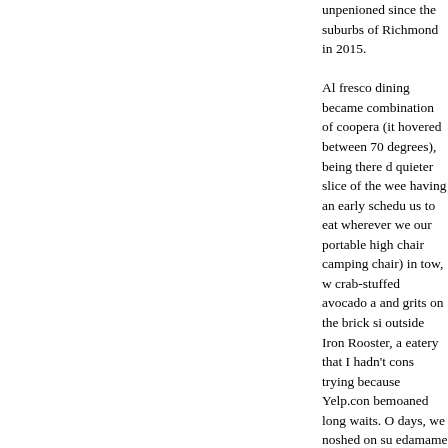unpenioned since the suburbs of Richmond in 2015. Al fresco dining became combination of coopera (it hovered between 70 degrees), being there d quieter slice of the wee having an early schedu us to eat wherever we our portable high chair camping chair) in tow, w crab-stuffed avocado a and grits on the brick si outside Iron Rooster, a eatery that I hadn't cons trying because Yelp.con bemoaned long waits. O days, we noshed on su edamame on the back p Cafe & Sushi Bar as jaz